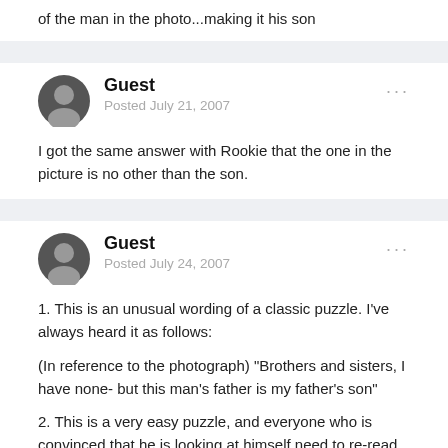of the man in the photo...making it his son
Guest
Posted July 21, 2007

I got the same answer with Rookie that the one in the picture is no other than the son.
Guest
Posted July 24, 2007

1. This is an unusual wording of a classic puzzle. I've always heard it as follows:

(In reference to the photograph) "Brothers and sisters, I have none- but this man's father is my father's son"

2. This is a very easy puzzle, and everyone who is convinced that he is looking at himself need to re-read the clue and break it